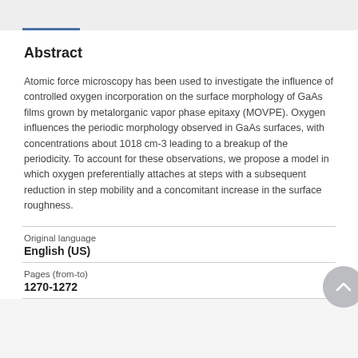Abstract
Atomic force microscopy has been used to investigate the influence of controlled oxygen incorporation on the surface morphology of GaAs films grown by metalorganic vapor phase epitaxy (MOVPE). Oxygen influences the periodic morphology observed in GaAs surfaces, with concentrations about 1018 cm-3 leading to a breakup of the periodicity. To account for these observations, we propose a model in which oxygen preferentially attaches at steps with a subsequent reduction in step mobility and a concomitant increase in the surface roughness.
Original language
English (US)
Pages (from-to)
1270-1272